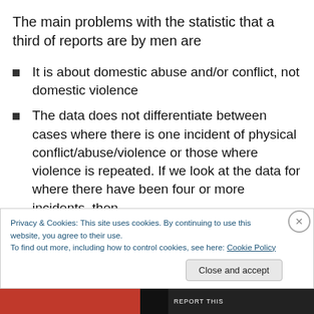The main problems with the statistic that a third of reports are by men are
It is about domestic abuse and/or conflict, not domestic violence
The data does not differentiate between cases where there is one incident of physical conflict/abuse/violence or those where violence is repeated. If we look at the data for where there have been four or more incidents, then
Privacy & Cookies: This site uses cookies. By continuing to use this website, you agree to their use.
To find out more, including how to control cookies, see here: Cookie Policy